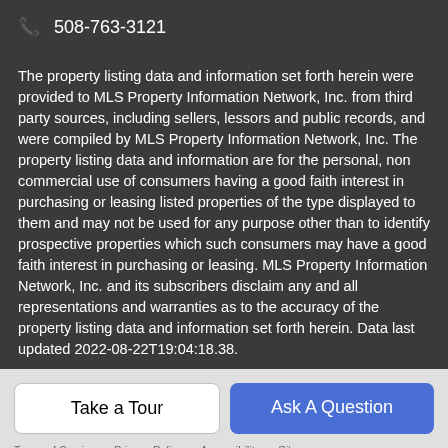📞 508-763-3121
The property listing data and information set forth herein were provided to MLS Property Information Network, Inc. from third party sources, including sellers, lessors and public records, and were compiled by MLS Property Information Network, Inc. The property listing data and information are for the personal, non commercial use of consumers having a good faith interest in purchasing or leasing listed properties of the type displayed to them and may not be used for any purpose other than to identify prospective properties which such consumers may have a good faith interest in purchasing or leasing. MLS Property Information Network, Inc. and its subscribers disclaim any and all representations and warranties as to the accuracy of the property listing data and information set forth herein. Data last updated 2022-08-22T19:04:18.38.
Take a Tour
Ask A Question
Terms of Service   Privacy Policy   Accessibility   Sitemap